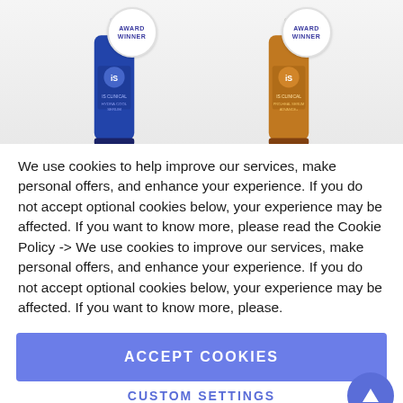[Figure (photo): Two iS Clinical skincare product bottles side by side on a light grey background. Left: blue bottle of Hydra-Cool Serum with an 'AWARD WINNER' circular badge. Right: amber/orange bottle of Pro-Heal Serum Advance+ with an 'AWARD WINNER' circular badge.]
We use cookies to help improve our services, make personal offers, and enhance your experience. If you do not accept optional cookies below, your experience may be affected. If you want to know more, please read the Cookie Policy -> We use cookies to improve our services, make personal offers, and enhance your experience. If you do not accept optional cookies below, your experience may be affected. If you want to know more, please.
ACCEPT COOKIES
CUSTOM SETTINGS